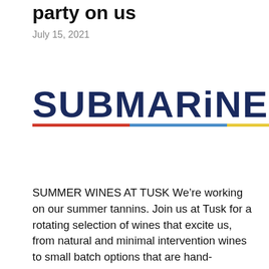party on us
July 15, 2021
[Figure (logo): SUBMARINE logo in dark navy bold uppercase letters with three colored underline bars (red, blue, yellow)]
SUMMER WINES AT TUSK We’re working on our summer tannins. Join us at Tusk for a rotating selection of wines that excite us, from natural and minimal intervention wines to small batch options that are hand-selected by our staff. Stop by weekly to see what’s new and follow us on Instagram for